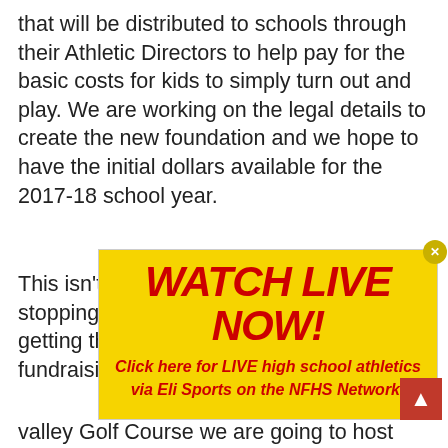that will be distributed to schools through their Athletic Directors to help pay for the basic costs for kids to simply turn out and play. We are working on the legal details to create the new foundation and we hope to have the initial dollars available for the 2017-18 school year.
[Figure (other): Broken image placeholder labeled 'golf-penguin']
This isn't stopping us from getting the fundraising started and we
[Figure (infographic): Yellow advertisement overlay with red bold italic text reading 'WATCH LIVE NOW!' and below 'Click here for LIVE high school athletics via Eli Sports on the NFHS Network!' with a close button and a red scroll-to-top button.]
valley Golf Course we are going to host our 1st